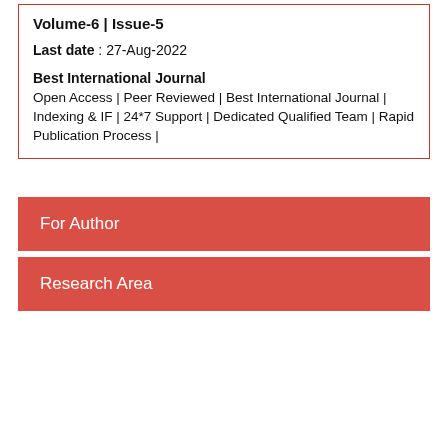Volume-6 | Issue-5
Last date : 27-Aug-2022
Best International Journal
Open Access | Peer Reviewed | Best International Journal | Indexing & IF | 24*7 Support | Dedicated Qualified Team | Rapid Publication Process |
For Author
Research Area